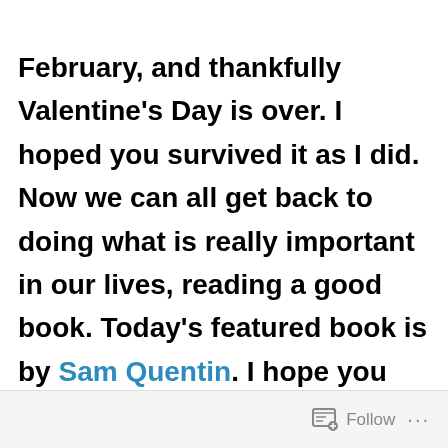February, and thankfully Valentine's Day is over. I hoped you survived it as I did. Now we can all get back to doing what is really important in our lives, reading a good book. Today's featured book is by Sam Quentin. I hope you enjoy!
Follow ...